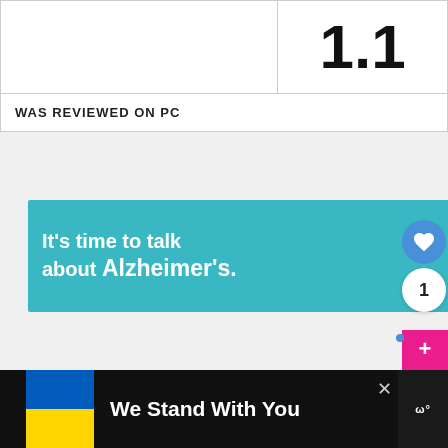|  | Score |
| --- | --- |
|  | 1.1 |
| WAS REVIEWED ON PC |  |
[Figure (screenshot): Alzheimer's Association advertisement banner: teal background with text 'It's time to talk about Alzheimer's.' and a LEARN MORE button]
[Figure (screenshot): Heart/like button (blue circle), count badge showing '1', plus and up-arrow scroll buttons in pink/magenta]
[Figure (screenshot): What's Next promo showing thumbnail and text 'Microsoft Founder Bill...']
[Figure (screenshot): Bottom banner: 'We Stand With You' with Ukraine flag colors on black background]